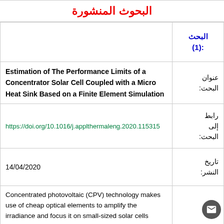البحوث المنشورة
| البحث (1): |  |
| --- | --- |
| عنوان البحث: | Estimation of The Performance Limits of a Concentrator Solar Cell Coupled with a Micro Heat Sink Based on a Finite Element Simulation |
| رابط إلى البحث: | https://doi.org/10.1016/j.applthermaleng.2020.115315 |
| تاريخ النشر: | 14/04/2020 |
|  | Concentrated photovoltaic (CPV) technology makes use of cheap optical elements to amplify the irradiance and focus it on small-sized solar cells enabling the extraction of higher amounts of electricity. However, increasing the |